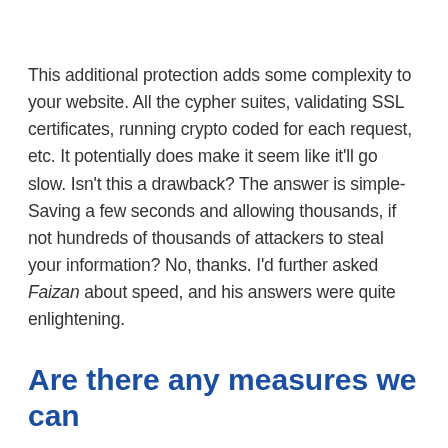This additional protection adds some complexity to your website. All the cypher suites, validating SSL certificates, running crypto coded for each request, etc. It potentially does make it seem like it'll go slow. Isn't this a drawback? The answer is simple- Saving a few seconds and allowing thousands, if not hundreds of thousands of attackers to steal your information? No, thanks. I'd further asked Faizan about speed, and his answers were quite enlightening.
Are there any measures we can